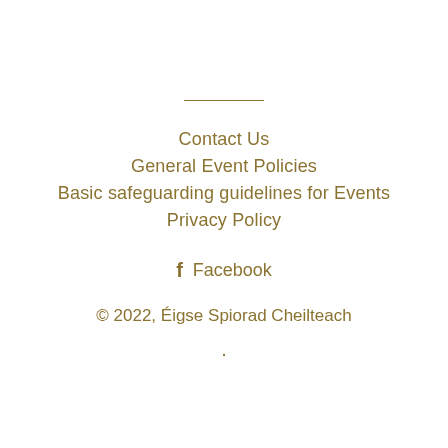Contact Us
General Event Policies
Basic safeguarding guidelines for Events
Privacy Policy
Facebook
© 2022, Éigse Spiorad Cheilteach
.